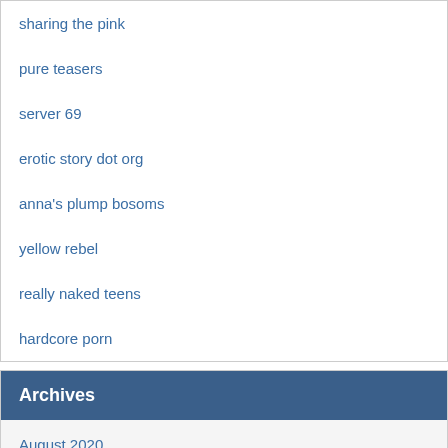sharing the pink
pure teasers
server 69
erotic story dot org
anna's plump bosoms
yellow rebel
really naked teens
hardcore porn
Archives
August 2020
July 2020
June 2020
May 2020
April 2020